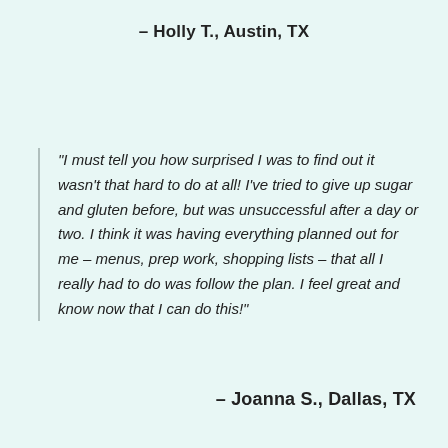– Holly T., Austin, TX
"I must tell you how surprised I was to find out it wasn't that hard to do at all! I've tried to give up sugar and gluten before, but was unsuccessful after a day or two. I think it was having everything planned out for me – menus, prep work, shopping lists – that all I really had to do was follow the plan. I feel great and know now that I can do this!"
– Joanna S., Dallas, TX